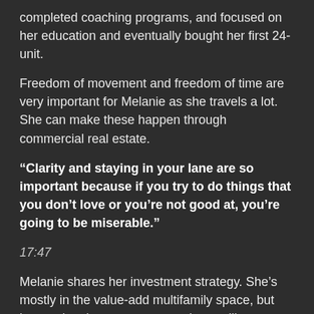completed coaching programs, and focused on her education and eventually bought her first 24-unit.
Freedom of movement and freedom of time are very important for Melanie as she travels a lot. She can make these happen through commercial real estate.
“Clarity and staying in your lane are so important because if you try to do things that you don’t love or you’re not good at, you’re going to be miserable.”
17:47
Melanie shares her investment strategy. She’s mostly in the value-add multifamily space, but invests in other secure asset classes like warehouses or industrial.